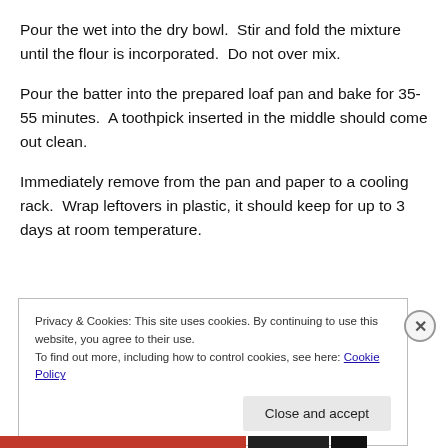Pour the wet into the dry bowl.  Stir and fold the mixture until the flour is incorporated.  Do not over mix.
Pour the batter into the prepared loaf pan and bake for 35-55 minutes.  A toothpick inserted in the middle should come out clean.
Immediately remove from the pan and paper to a cooling rack.  Wrap leftovers in plastic, it should keep for up to 3 days at room temperature.
Privacy & Cookies: This site uses cookies. By continuing to use this website, you agree to their use.
To find out more, including how to control cookies, see here: Cookie Policy